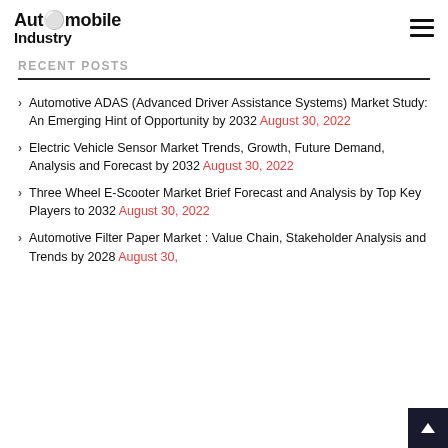Automobile Industry
RECENT POSTS
Automotive ADAS (Advanced Driver Assistance Systems) Market Study: An Emerging Hint of Opportunity by 2032 August 30, 2022
Electric Vehicle Sensor Market Trends, Growth, Future Demand, Analysis and Forecast by 2032 August 30, 2022
Three Wheel E-Scooter Market Brief Forecast and Analysis by Top Key Players to 2032 August 30, 2022
Automotive Filter Paper Market : Value Chain, Stakeholder Analysis and Trends by 2028 August 30,